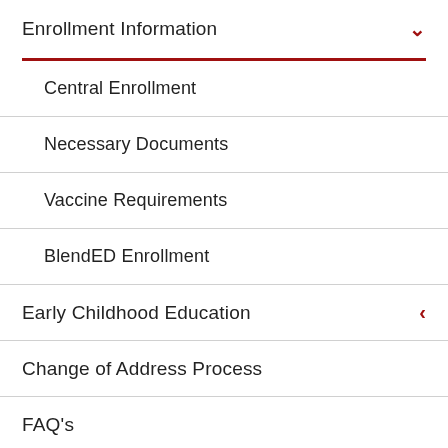Enrollment Information
Central Enrollment
Necessary Documents
Vaccine Requirements
BlendED Enrollment
Early Childhood Education
Change of Address Process
FAQ's